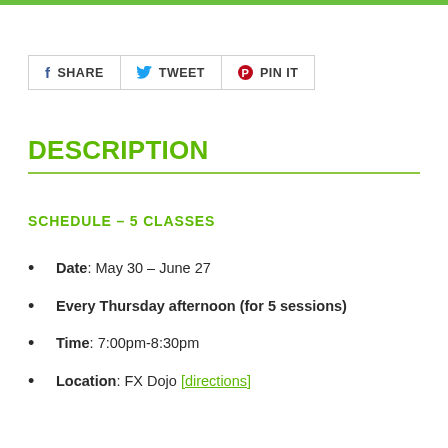[Figure (other): Social share buttons row: SHARE (Facebook), TWEET (Twitter), PIN IT (Pinterest)]
DESCRIPTION
SCHEDULE – 5 CLASSES
Date: May 30 – June 27
Every Thursday afternoon (for 5 sessions)
Time: 7:00pm-8:30pm
Location: FX Dojo [directions]